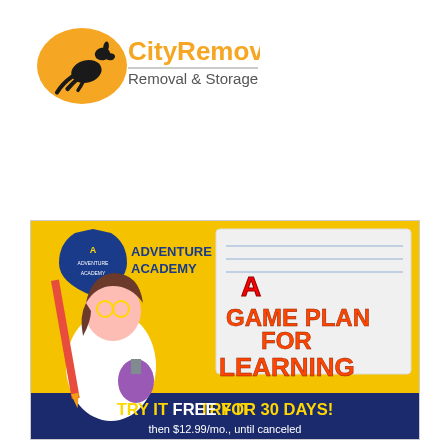[Figure (logo): CityRemovalist Removal & Storage logo: orange kangaroo silhouette on orange Australia map shape, with 'CityRemovalist' in orange bold text and 'Removal & Storage' in gray below a horizontal line]
[Figure (advertisement): Adventure Academy educational gaming app advertisement. Yellow background with animated girl character holding chemistry flask. Text reads 'A GAME PLAN FOR LEARNING' in large red/yellow letters. Bottom dark blue banner: 'TRY IT FREE FOR 30 DAYS!' and 'then $12.99/mo., until canceled']